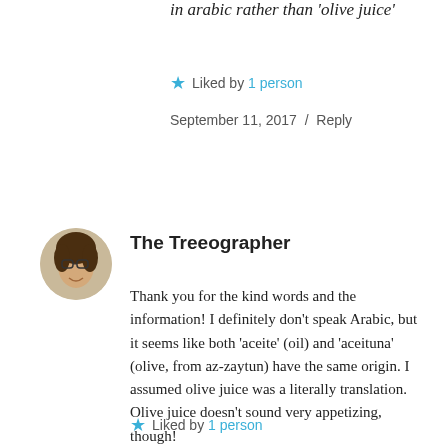in arabic rather than 'olive juice'
Liked by 1 person
September 11, 2017  /  Reply
[Figure (photo): Circular avatar photo of The Treeographer, a person with glasses and curly hair]
The Treeographer
Thank you for the kind words and the information! I definitely don't speak Arabic, but it seems like both 'aceite' (oil) and 'aceituna' (olive, from az-zaytun) have the same origin. I assumed olive juice was a literally translation. Olive juice doesn't sound very appetizing, though!
Liked by 1 person